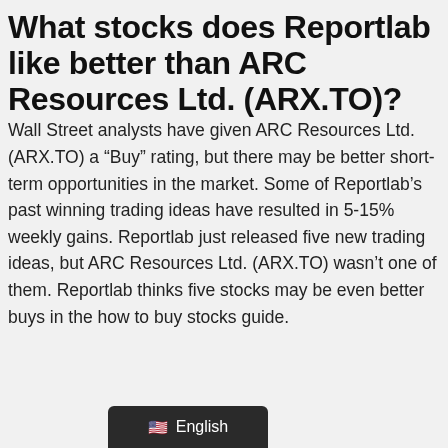What stocks does Reportlab like better than ARC Resources Ltd. (ARX.TO)?
Wall Street analysts have given ARC Resources Ltd. (ARX.TO) a “Buy” rating, but there may be better short-term opportunities in the market. Some of Reportlab’s past winning trading ideas have resulted in 5-15% weekly gains. Reportlab just released five new trading ideas, but ARC Resources Ltd. (ARX.TO) wasn’t one of them. Reportlab thinks five stocks may be even better buys in the how to buy stocks guide.